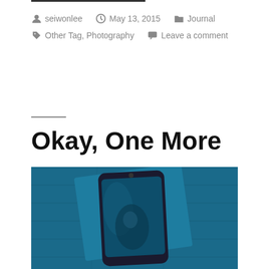seiwonlee  May 13, 2015  Journal  Other Tag, Photography  Leave a comment
Okay, One More
[Figure (photo): A smartphone and other objects on a teal/dark blue wooden surface, top-down view]